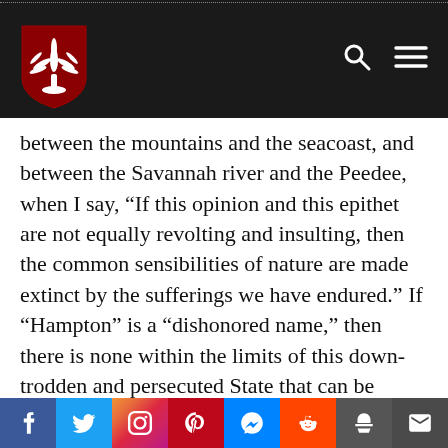Navigation bar with university shield logo and search/menu icons
between the mountains and the seacoast, and between the Savannah river and the Peedee, when I say, “If this opinion and this epithet are not equally revolting and insulting, then the common sensibilities of nature are made extinct by the sufferings we have endured.” If “Hampton” is a “dishonored name,” then there is none within the limits of this down-trodden and persecuted State that can be
Social sharing bar: Facebook, Twitter, Instagram, Pinterest, Messenger, Reddit, Print, Email